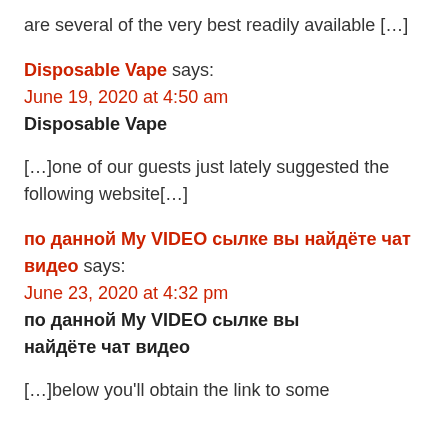are several of the very best readily available […]
Disposable Vape says:
June 19, 2020 at 4:50 am
Disposable Vape
[…]one of our guests just lately suggested the following website[…]
по данной My VIDEO сылке вы найдёте чат видео says:
June 23, 2020 at 4:32 pm
по данной My VIDEO сылке вы найдёте чат видео
[…]below you'll obtain the link to some